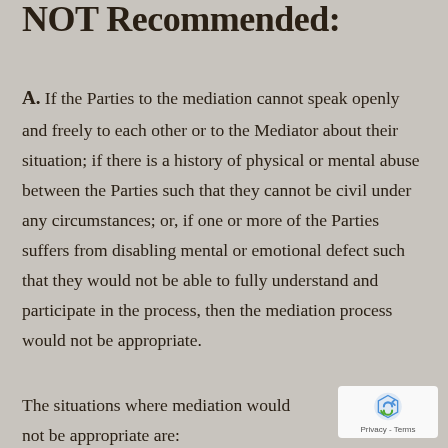NOT Recommended:
A. If the Parties to the mediation cannot speak openly and freely to each other or to the Mediator about their situation; if there is a history of physical or mental abuse between the Parties such that they cannot be civil under any circumstances; or, if one or more of the Parties suffers from disabling mental or emotional defect such that they would not be able to fully understand and participate in the process, then the mediation process would not be appropriate.
The situations where mediation would not be appropriate are: